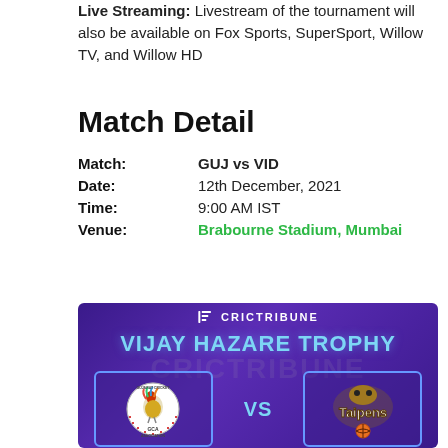Live Streaming: Livestream of the tournament will also be available on Fox Sports, SuperSport, Willow TV, and Willow HD
Match Detail
Match: GUJ vs VID
Date: 12th December, 2021
Time: 9:00 AM IST
Venue: Brabourne Stadium, Mumbai
[Figure (infographic): CricTribune branded banner for Vijay Hazare Trophy match between Gujarat Cricket Association (GCA) and Taipans, showing team logos and VS text on purple background]